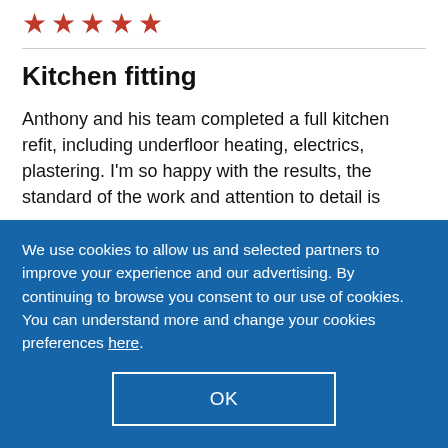[Figure (other): Five red star rating icons]
Kitchen fitting
Anthony and his team completed a full kitchen refit, including underfloor heating, electrics, plastering. I'm so happy with the results, the standard of the work and attention to detail is
We use cookies to allow us and selected partners to improve your experience and our advertising. By continuing to browse you consent to our use of cookies. You can understand more and change your cookies preferences here.
OK